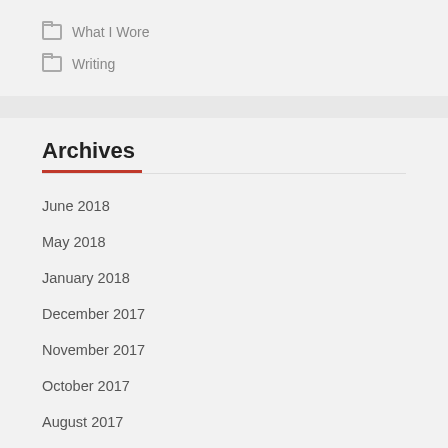What I Wore
Writing
Archives
June 2018
May 2018
January 2018
December 2017
November 2017
October 2017
August 2017
July 2017